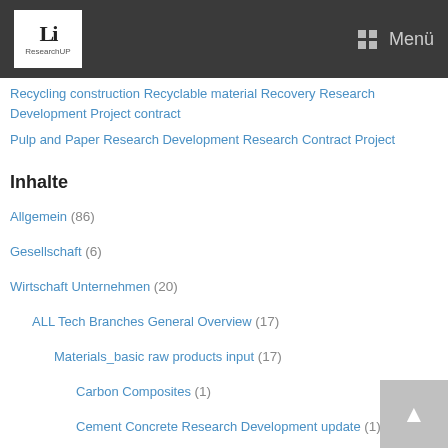ResearchUP | Menü
Recycling construction Recyclable material Recovery Research Development Project contract
Pulp and Paper Research Development Research Contract Project
Inhalte
Allgemein (86)
Gesellschaft (6)
Wirtschaft Unternehmen (20)
ALL Tech Branches General Overview (17)
Materials_basic raw products input (17)
Carbon Composites (1)
Cement Concrete Research Development update (1)
Enamel Research Development Projects update (1)
Glass Industry Research Development innovation update